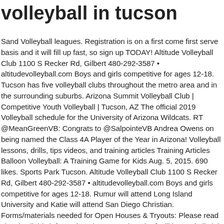volleyball in tucson
Sand Volleyball leagues. Registration is on a first come first serve basis and it will fill up fast, so sign up TODAY! Altitude Volleyball Club 1100 S Recker Rd, Gilbert 480-292-3587 • altitudevolleyball.com Boys and girls competitive for ages 12-18. Tucson has five volleyball clubs throughout the metro area and in the surrounding suburbs. Arizona Summit Volleyball Club | Competitive Youth Volleyball | Tucson, AZ The official 2019 Volleyball schedule for the University of Arizona Wildcats. RT @MeanGreenVB: Congrats to @SalpointeVB Andrea Owens on being named the Class 4A Player of the Year in Arizona! Volleyball lessons, drills, tips videos, and training articles Training Articles Balloon Volleyball: A Training Game for Kids Aug. 5, 2015. 690 likes. Sports Park Tucson. Altitude Volleyball Club 1100 S Recker Rd, Gilbert 480-292-3587 • altitudevolleyball.com Boys and girls competitive for ages 12-18. Rumur will attend Long Island University and Katie will attend San Diego Christian. Forms/materials needed for Open Houses & Tryouts: Please read closely all this information, the AZ Region, the facilities and all club directors are working hard to have a season. - All individuals must register or renew their Arizona Region membership online for the 2021 season PRIOR to the Open House evaluation sessions and Tryouts. All Star Screen Printing And Embroidery